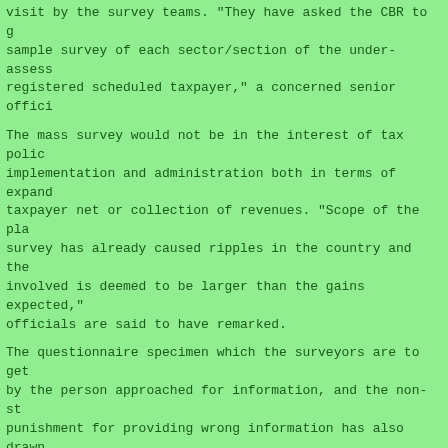visit by the survey teams. "They have asked the CBR to g sample survey of each sector/section of the under-assess registered scheduled taxpayer," a concerned senior offici
The mass survey would not be in the interest of tax polic implementation and administration both in terms of expand taxpayer net or collection of revenues. "Scope of the pla survey has already caused ripples in the country and the involved is deemed to be larger than the gains expected, officials are said to have remarked.
The questionnaire specimen which the surveyors are to ge by the person approached for information, and the non-st punishment for providing wrong information has also draw objections from the IMF officials.
The sample survey proposed by IMF is for covering a limi of each sector of targeted taxpayers; setting money/time targets for coverage and deposits plus registration; and involvement of fewer surveyors, most preferably by privat companies.
A meeting of the senior ministry of interior officials i for April 24, 2000, to which the CBR high ups have also invited to discuss the issue in the light of IMF observat
DWS*DWS*DWS*DWS*DWS*DWS*DWS*DWS*DWS*DWS*DWS*DWS*DWS*DWS*D
20000421
----------------------------------------------------------------
IMF 'pleased' with new reform package: official